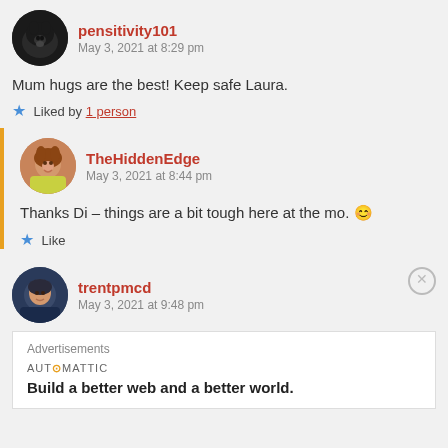pensitivity101
May 3, 2021 at 8:29 pm
Mum hugs are the best! Keep safe Laura.
★ Liked by 1 person
TheHiddenEdge
May 3, 2021 at 8:44 pm
Thanks Di – things are a bit tough here at the mo. 😊
★ Like
trentpmcd
May 3, 2021 at 9:48 pm
Advertisements
AUTOMATTIC
Build a better web and a better world.